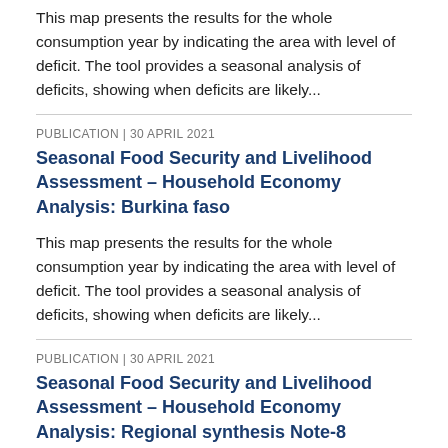This map presents the results for the whole consumption year by indicating the area with level of deficit. The tool provides a seasonal analysis of deficits, showing when deficits are likely...
PUBLICATION | 30 APRIL 2021
Seasonal Food Security and Livelihood Assessment – Household Economy Analysis: Burkina faso
This map presents the results for the whole consumption year by indicating the area with level of deficit. The tool provides a seasonal analysis of deficits, showing when deficits are likely...
PUBLICATION | 30 APRIL 2021
Seasonal Food Security and Livelihood Assessment – Household Economy Analysis: Regional synthesis Note-8 sahelian countries
This map presents the results for the whole consumption year by indicating the area with level of deficit. The tool...